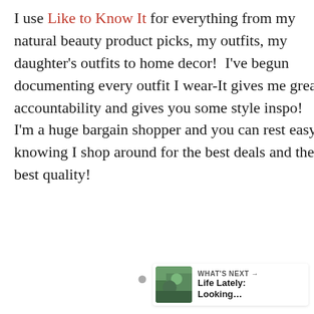I use Like to Know It for everything from my natural beauty product picks, my outfits, my daughter's outfits to home decor!  I've begun documenting every outfit I wear-It gives me great accountability and gives you some style inspo!  I'm a huge bargain shopper and you can rest easy knowing I shop around for the best deals and the best quality!
[Figure (screenshot): Image carousel area with navigation dots, a like button (teal circle with heart icon), share button, count showing '1', and a 'What's Next' card showing a nature thumbnail and text 'Life Lately: Looking...']